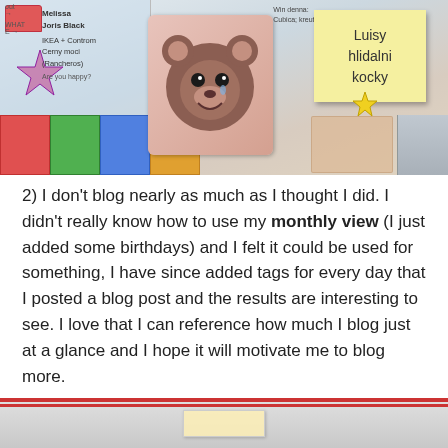[Figure (photo): Photo of a colorful bulletin board or wall display with stickers, drawings, a teddy bear card, and a yellow sticky note with handwritten text reading 'Luisy hlidalni kocky']
2) I don't blog nearly as much as I thought I did. I didn't really know how to use my monthly view (I just added some birthdays) and I felt it could be used for something, I have since added tags for every day that I posted a blog post and the results are interesting to see. I love that I can reference how much I blog just at a glance and I hope it will motivate me to blog more.
[Figure (photo): Partial photo at the bottom showing what appears to be a planner or notebook, partially cropped]